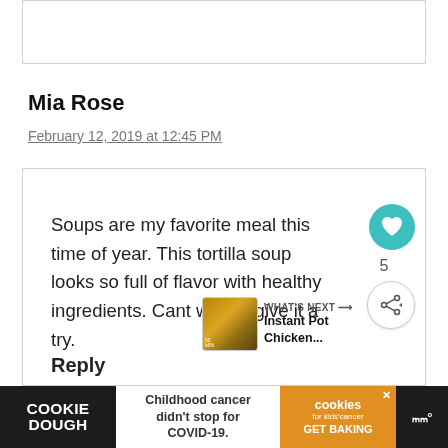Mia Rose
February 12, 2019 at 12:45 PM
Soups are my favorite meal this time of year. This tortilla soup looks so full of flavor with healthy ingredients. Cant wait to give it a try.
Reply
[Figure (infographic): WHAT'S NEXT arrow with Instant Pot Chicken... thumbnail]
[Figure (infographic): COOKIE DOUGH ad banner: Childhood cancer didn't stop for COVID-19. cookies for kids cancer GET BAKING]